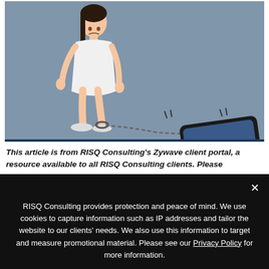[Figure (illustration): Illustration of a woman in a white dress bent forward, chained at her ankle to a large smartphone on the ground, against a blue-grey background. Represents phone addiction or being chained to technology.]
This article is from RISQ Consulting's Zywave client portal, a resource available to all RISQ Consulting clients. Please
RISQ Consulting provides protection and peace of mind. We use cookies to capture information such as IP addresses and tailor the website to our clients' needs. We also use this information to target and measure promotional material. Please see our Privacy Policy for more information.
Accept